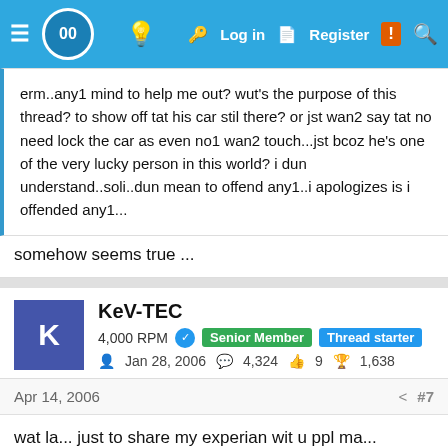00 | Log in | Register | (search)
erm..any1 mind to help me out? wut's the purpose of this thread? to show off tat his car stil there? or jst wan2 say tat no need lock the car as even no1 wan2 touch...jst bcoz he's one of the very lucky person in this world? i dun understand..soli..dun mean to offend any1..i apologizes is i offended any1...
somehow seems true ...
KeV-TEC
4,000 RPM · Senior Member · Thread starter
Jan 28, 2006 · 4,324 · 9 · 1,638
Apr 14, 2006  #7
wat la... just to share my experian wit u ppl ma... haiyo... what to